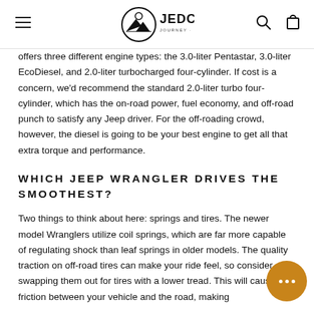JEDCO — Journey · Explore · Discover
offers three different engine types: the 3.0-liter Pentastar, 3.0-liter EcoDiesel, and 2.0-liter turbocharged four-cylinder. If cost is a concern, we'd recommend the standard 2.0-liter turbo four-cylinder, which has the on-road power, fuel economy, and off-road punch to satisfy any Jeep driver. For the off-roading crowd, however, the diesel is going to be your best engine to get all that extra torque and performance.
WHICH JEEP WRANGLER DRIVES THE SMOOTHEST?
Two things to think about here: springs and tires. The newer model Wranglers utilize coil springs, which are far more capable of regulating shock than leaf springs in older models. The quality traction on off-road tires can make your ride feel, so consider swapping them out for tires with a lower tread. This will cause less friction between your vehicle and the road, making